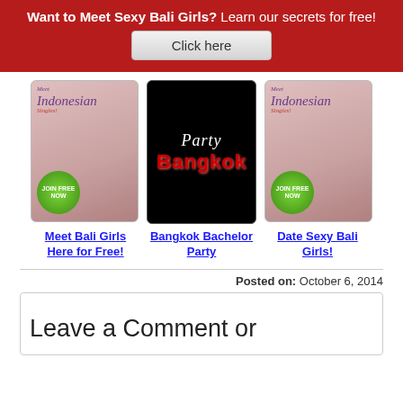[Figure (infographic): Red banner advertisement: 'Want to Meet Sexy Bali Girls? Learn our secrets for free!' with a 'Click here' button]
[Figure (infographic): Three advertisement images: Meet Indonesian Singles with JOIN FREE NOW button, Party Bangkok dark ad, Meet Indonesian Singles again]
Meet Bali Girls Here for Free!
Bangkok Bachelor Party
Date Sexy Bali Girls!
Posted on: October 6, 2014
Leave a Comment or